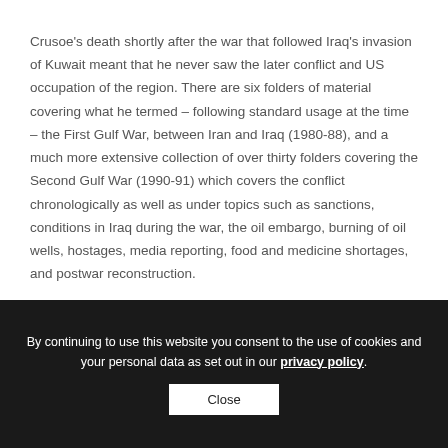Crusoe's death shortly after the war that followed Iraq's invasion of Kuwait meant that he never saw the later conflict and US occupation of the region. There are six folders of material covering what he termed – following standard usage at the time – the First Gulf War, between Iran and Iraq (1980-88), and a much more extensive collection of over thirty folders covering the Second Gulf War (1990-91) which covers the conflict chronologically as well as under topics such as sanctions, conditions in Iraq during the war, the oil embargo, burning of oil wells, hostages, media reporting, food and medicine shortages, and postwar reconstruction.
By continuing to use this website you consent to the use of cookies and your personal data as set out in our privacy policy.